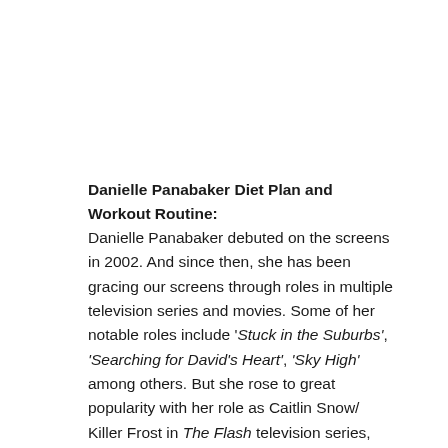Danielle Panabaker Diet Plan and Workout Routine:
Danielle Panabaker debuted on the screens in 2002. And since then, she has been gracing our screens through roles in multiple television series and movies. Some of her notable roles include 'Stuck in the Suburbs', 'Searching for David's Heart', 'Sky High' among others. But she rose to great popularity with her role as Caitlin Snow/ Killer Frost in The Flash television series, which is set to release its season 8 in 2022. Panabaker is an extremely good performer with good instincts for scripts. She has persevered over the years to mark twenty years on the screens in 2022. But another facet of her is her killer looks